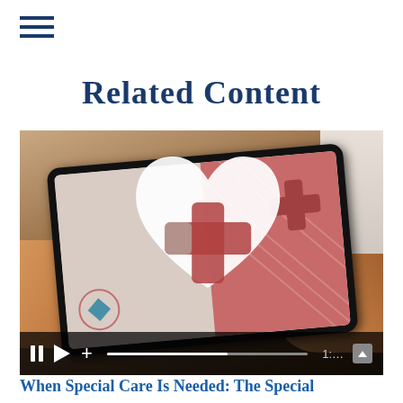☰
Related Content
[Figure (screenshot): Screenshot of a video player showing hands holding a tablet device displaying a health app with a heart and medical cross icon overlay. Video controls are visible at the bottom including pause, play, and a progress bar with timestamp.]
When Special Care Is Needed: The Special